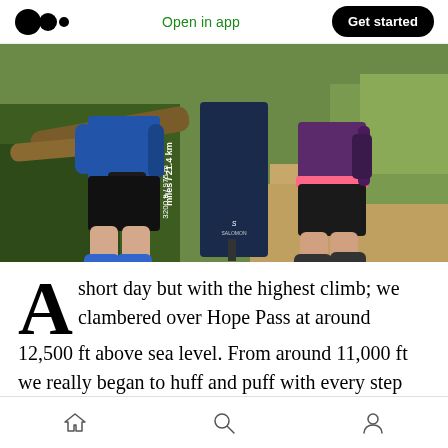Medium logo | Open in app | Get started
[Figure (photo): Two trail runners standing next to a Salomon race sign showing 'miles / 21.4 km, 3200 ft / 975 m'. They are on a dirt trail surrounded by trees and greenery.]
A short day but with the highest climb; we clambered over Hope Pass at around 12,500 ft above sea level. From around 11,000 ft we really began to huff and puff with every step getting heavier than the last. It was like wading
Home | Search | Profile